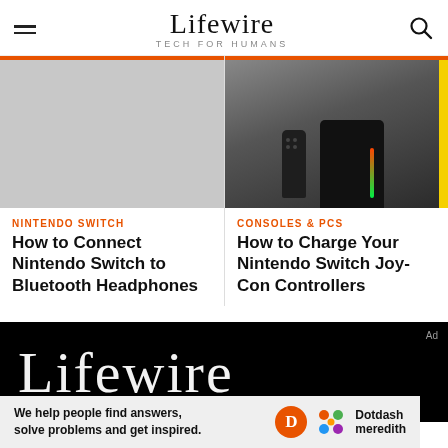Lifewire TECH FOR HUMANS
[Figure (screenshot): Gray placeholder image for Nintendo Switch Bluetooth headphones article]
NINTENDO SWITCH
How to Connect Nintendo Switch to Bluetooth Headphones
[Figure (photo): Photo of Nintendo Switch Joy-Con charging dock with glowing LED]
CONSOLES & PCS
How to Charge Your Nintendo Switch Joy-Con Controllers
[Figure (logo): Lifewire logo in white on black background footer]
We help people find answers, solve problems and get inspired.
Dotdash meredith